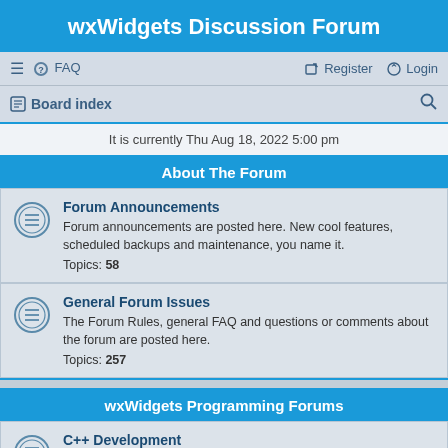wxWidgets Discussion Forum
≡  FAQ    Register  Login
Board index  [search icon]
It is currently Thu Aug 18, 2022 5:00 pm
About The Forum
Forum Announcements
Forum announcements are posted here. New cool features, scheduled backups and maintenance, you name it.
Topics: 58
General Forum Issues
The Forum Rules, general FAQ and questions or comments about the forum are posted here.
Topics: 257
wxWidgets Programming Forums
C++ Development
If you are using the main C++ distribution of wxWidgets, Feel free to ask any question related to wxWidgets development here. This means questions regarding to C++ and wxWidgets, not compile problems.
Topics: 25895
Component Writing
Are you writing your own components and need help with how to set them up or have questions about the components you are deriving from? Ask them